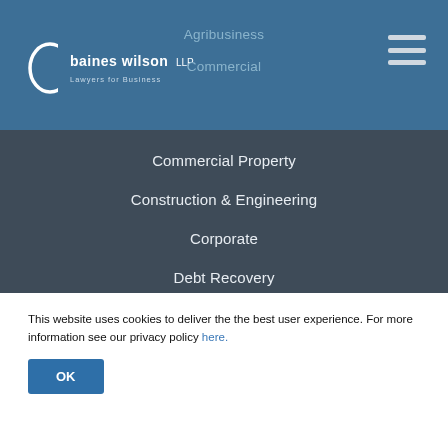baines wilson LLP — Lawyers for Business
Agribusiness
Commercial
Commercial Property
Construction & Engineering
Corporate
Debt Recovery
Dispute Resolution & Litigation
Employment
Employment Law Retainer Service
This website uses cookies to deliver the the best user experience. For more information see our privacy policy here.
OK